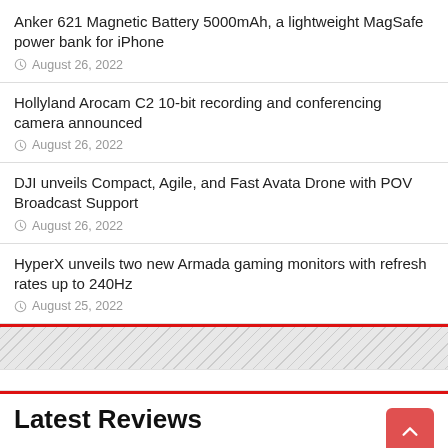Anker 621 Magnetic Battery 5000mAh, a lightweight MagSafe power bank for iPhone
August 26, 2022
Hollyland Arocam C2 10-bit recording and conferencing camera announced
August 26, 2022
DJI unveils Compact, Agile, and Fast Avata Drone with POV Broadcast Support
August 26, 2022
HyperX unveils two new Armada gaming monitors with refresh rates up to 240Hz
August 25, 2022
Latest Reviews